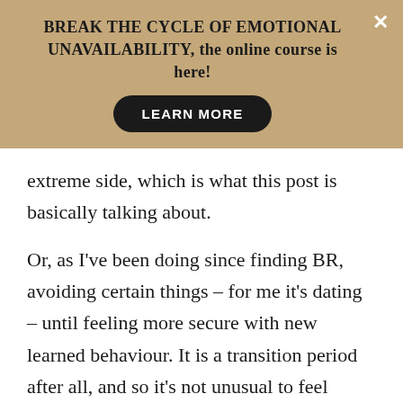[Figure (other): Banner advertisement with tan/khaki background. Text: 'BREAK THE CYCLE OF EMOTIONAL UNAVAILABILITY, the online course is here!' with a black pill-shaped button labelled 'LEARN MORE' and a white X close button.]
extreme side, which is what this post is basically talking about.
Or, as I've been doing since finding BR, avoiding certain things – for me it's dating – until feeling more secure with new learned behaviour. It is a transition period after all, and so it's not unusual to feel